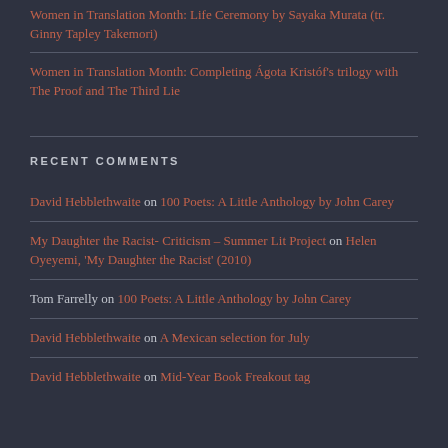Women in Translation Month: Life Ceremony by Sayaka Murata (tr. Ginny Tapley Takemori)
Women in Translation Month: Completing Ágota Kristóf's trilogy with The Proof and The Third Lie
RECENT COMMENTS
David Hebblethwaite on 100 Poets: A Little Anthology by John Carey
My Daughter the Racist- Criticism – Summer Lit Project on Helen Oyeyemi, 'My Daughter the Racist' (2010)
Tom Farrelly on 100 Poets: A Little Anthology by John Carey
David Hebblethwaite on A Mexican selection for July
David Hebblethwaite on Mid-Year Book Freakout tag